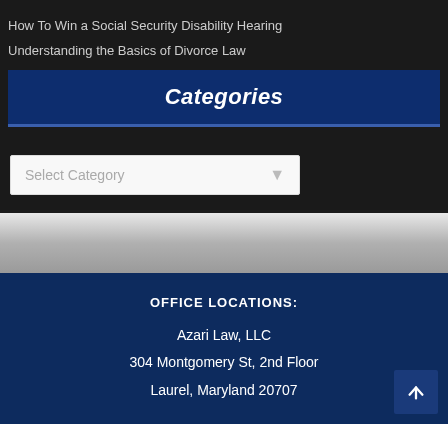How To Win a Social Security Disability Hearing
Understanding the Basics of Divorce Law
Categories
Select Category
OFFICE LOCATIONS:
Azari Law, LLC
304 Montgomery St, 2nd Floor
Laurel, Maryland 20707